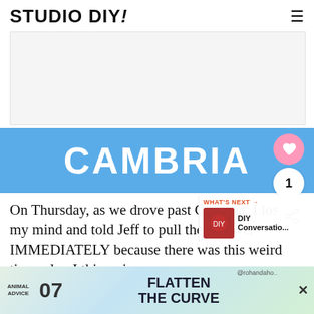STUDIO DIY!
[Figure (other): Light gray advertisement placeholder rectangle]
[Figure (other): Blue banner with large white uppercase text CAMBRIA, with a pink heart button showing 1 like and a share button on the right side]
On Thursday, as we drove past Cambria, I lost my mind and told Jeff to pull the car over IMMEDIATELY because there was this weird tiny col... I thin... in
[Figure (other): Bottom advertisement banner: ANIMAL ADVICE 07, FLATTEN THE CURVE, @rohandaho close button]
[Figure (other): What's Next overlay with DIY Conversatio... thumbnail]